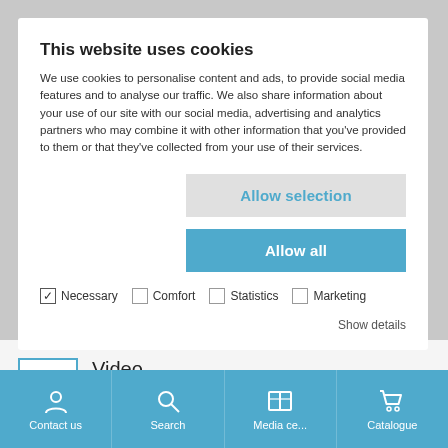This website uses cookies
We use cookies to personalise content and ads, to provide social media features and to analyse our traffic. We also share information about your use of our site with our social media, advertising and analytics partners who may combine it with other information that you've provided to them or that they've collected from your use of their services.
Allow selection
Allow all
✓ Necessary  □ Comfort  □ Statistics  □ Marketing  Show details
[Figure (screenshot): Video thumbnail with play button icon in blue border]
Video
Living in the office ! Invisible home office,
VMP
[Figure (screenshot): Bottom navigation bar with Contact us, Search, Media ce..., Catalogue icons on blue background]